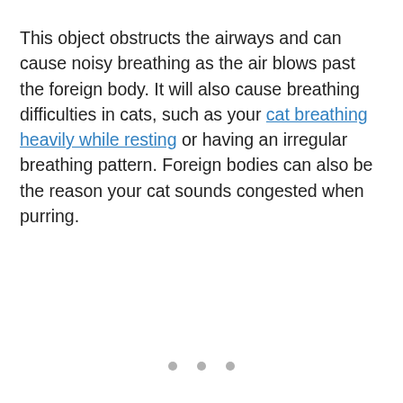This object obstructs the airways and can cause noisy breathing as the air blows past the foreign body. It will also cause breathing difficulties in cats, such as your cat breathing heavily while resting or having an irregular breathing pattern. Foreign bodies can also be the reason your cat sounds congested when purring.